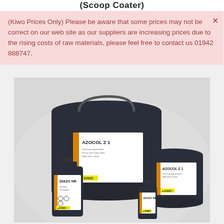(Scoop Coater)
(Kiwo Prices Only) Please be aware that some prices may not be correct on our web site as our suppliers are increasing prices due to the rising costs of raw materials, please feel free to contact us 01942 888747.
[Figure (photo): Product photo showing four KIWO containers: a large AZOCOL Z1 bucket, a smaller AZOCOL Z1 container, a DIAZO NR bottle, and a small DIAZO NR bottle, on a light grey background.]